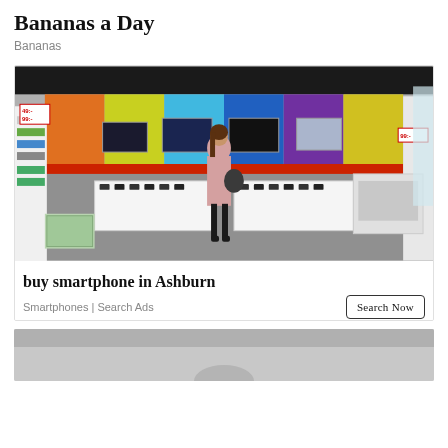Bananas a Day
Bananas
[Figure (photo): Interior of a colorful electronics/smartphone retail store with a woman in a pink coat browsing display cases of smartphones. Walls feature colorful panels in orange, green, blue, purple, and yellow. Price signs show 49:- and 99:-.]
buy smartphone in Ashburn
Smartphones | Search Ads
[Figure (photo): Partial view of another advertisement image, appears to show a grey/neutral background with top portion visible.]